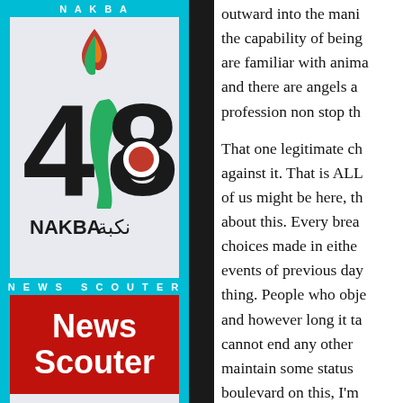NAKBA
[Figure (logo): Nakba 48 logo with flame, map of Palestine in green, and Arabic text 'نكبة' alongside 'NAKBA']
NEWS SCOUTER
[Figure (logo): News Scouter logo: red background with white bold text reading 'News Scouter']
outward into the mani the capability of being are familiar with anima and there are angels a profession non stop th
That one legitimate ch against it. That is ALL of us might be here, th about this. Every brea choices made in eithe events of previous day thing. People who obje and however long it ta cannot end any other maintain some status boulevard on this, I'm alternative(s) but I'm d